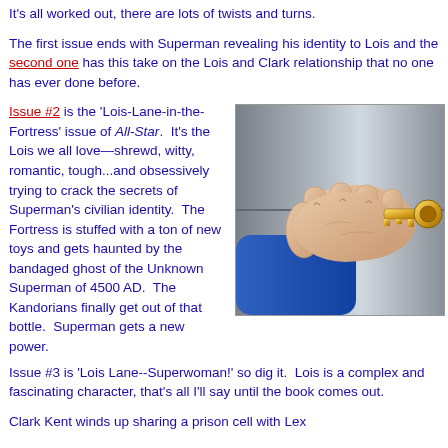It's all worked out, there are lots of twists and turns.
The first issue ends with Superman revealing his identity to Lois and the second one has this take on the Lois and Clark relationship that no one has ever done before.
Issue #2 is the 'Lois-Lane-in-the-Fortress' issue of All-Star. It's the Lois we all love—shrewd, witty, romantic, tough...and obsessively trying to crack the secrets of Superman's civilian identity. The Fortress is stuffed with a ton of new toys and gets haunted by the bandaged ghost of the Unknown Superman of 4500 AD. The Kandorians finally get out of that bottle. Superman gets a new power.
[Figure (illustration): A hand gripping a golden key being inserted into a lock on a metallic surface, illustrated in comic book style.]
Issue #3 is 'Lois Lane--Superwoman!' so dig it. Lois is a complex and fascinating character, that's all I'll say until the book comes out.
Clark Kent winds up sharing a prison cell with Lex